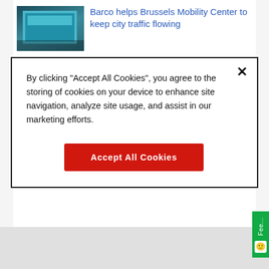Barco helps Brussels Mobility Center to keep city traffic flowing
By clicking “Accept All Cookies”, you agree to the storing of cookies on your device to enhance site navigation, analyze site usage, and assist in our marketing efforts.
Accept All Cookies
Latin America’s largest videowall helps keep the City of Queretaro safe